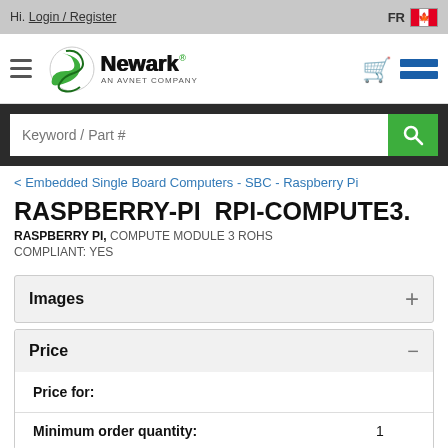Hi. Login / Register | FR
[Figure (logo): Newark - An Avnet Company logo with cart and menu icons]
[Figure (screenshot): Search bar with Keyword / Part # placeholder and green search button]
< Embedded Single Board Computers - SBC - Raspberry Pi
RASPBERRY-PI  RPI-COMPUTE3.
RASPBERRY PI, COMPUTE MODULE 3 ROHS COMPLIANT: YES
Images +
Price −
|  |  |
| --- | --- |
| Price for: |  |
| Minimum order quantity: | 1 |